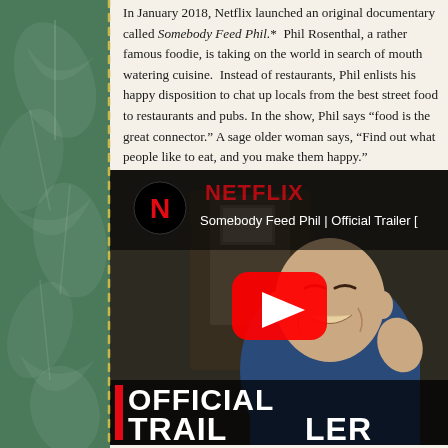In January 2018, Netflix launched an original documentary called Somebody Feed Phil.* Phil Rosenthal, a rather famous foodie, is ta world in search of mouth watering cuisine. Instead of restaurants, Phil enlists his happy disposition to chat u from the best street food to restaurants and pubs. In th says "food is the great connector." A sage older woman what people like to eat, and you make them happy."
[Figure (screenshot): YouTube video thumbnail for 'Somebody Feed Phil | Official Trailer' on Netflix. Shows a smiling bald man, large YouTube play button in center, Netflix logo and NETFLIX text in red at top left, 'OFFICIAL TRAILER' text at bottom, 'Watch on YouTube' branding at bottom left.]